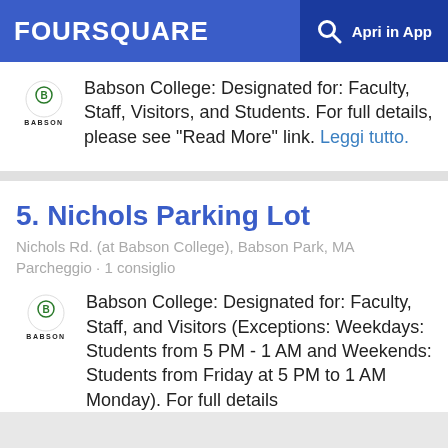FOURSQUARE | Apri in App
Babson College: Designated for: Faculty, Staff, Visitors, and Students. For full details, please see "Read More" link. Leggi tutto.
5. Nichols Parking Lot
Nichols Rd. (at Babson College), Babson Park, MA
Parcheggio · 1 consiglio
Babson College: Designated for: Faculty, Staff, and Visitors (Exceptions: Weekdays: Students from 5 PM - 1 AM and Weekends: Students from Friday at 5 PM to 1 AM Monday). For full details